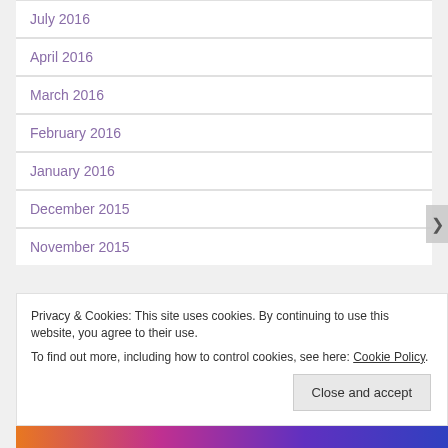July 2016
April 2016
March 2016
February 2016
January 2016
December 2015
November 2015
Privacy & Cookies: This site uses cookies. By continuing to use this website, you agree to their use.
To find out more, including how to control cookies, see here: Cookie Policy